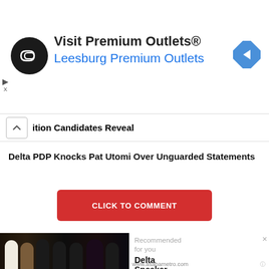[Figure (illustration): Advertisement banner: Visit Premium Outlets / Leesburg Premium Outlets with black circular logo with double-arrow icon and blue navigation arrow icon on right]
ition Candidates Reveal
Delta PDP Knocks Pat Utomi Over Unguarded Statements
CLICK TO COMMENT
[Figure (photo): Group photo of people standing together at an event]
Recommended for you
Delta Speaker...
www.asabametro.com